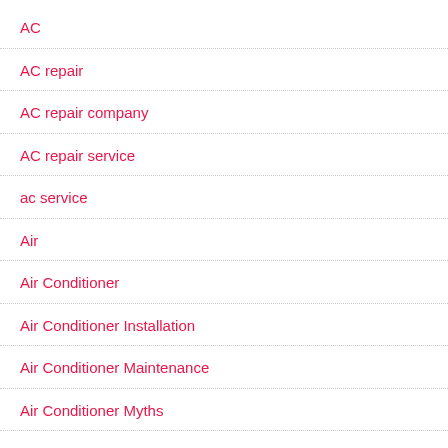AC
AC repair
AC repair company
AC repair service
ac service
Air
Air Conditioner
Air Conditioner Installation
Air Conditioner Maintenance
Air Conditioner Myths